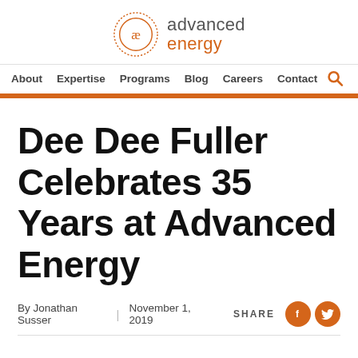[Figure (logo): Advanced Energy logo with circular AE icon and orange text]
About  Expertise  Programs  Blog  Careers  Contact
Dee Dee Fuller Celebrates 35 Years at Advanced Energy
By Jonathan Susser | November 1, 2019  SHARE